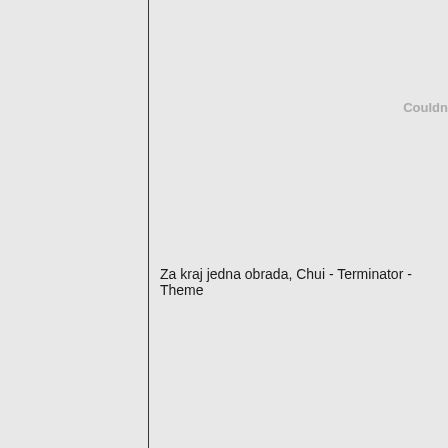Couldn
Za kraj jedna obrada, Chui - Terminator - Theme